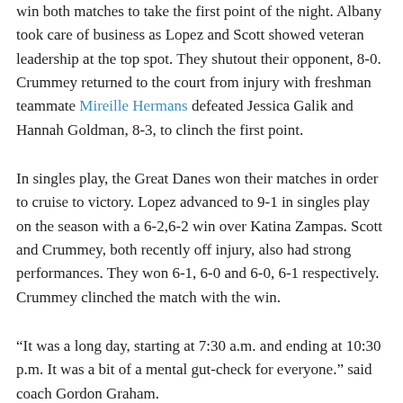win both matches to take the first point of the night. Albany took care of business as Lopez and Scott showed veteran leadership at the top spot. They shutout their opponent, 8-0. Crummey returned to the court from injury with freshman teammate Mireille Hermans defeated Jessica Galik and Hannah Goldman, 8-3, to clinch the first point.
In singles play, the Great Danes won their matches in order to cruise to victory. Lopez advanced to 9-1 in singles play on the season with a 6-2,6-2 win over Katina Zampas. Scott and Crummey, both recently off injury, also had strong performances. They won 6-1, 6-0 and 6-0, 6-1 respectively. Crummey clinched the match with the win.
“It was a long day, starting at 7:30 a.m. and ending at 10:30 p.m. It was a bit of a mental gut-check for everyone.” said coach Gordon Graham.